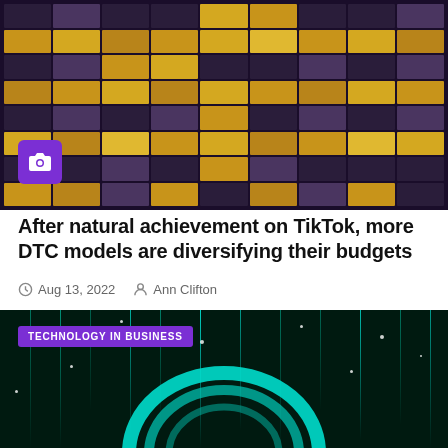[Figure (photo): Night photograph of a tall office building with illuminated and dark windows creating a grid pattern against a dark purple/black sky]
After natural achievement on TikTok, more DTC models are diversifying their budgets
Aug 13, 2022   Ann Clifton
[Figure (photo): Technology event or installation photo showing a glowing teal/cyan arch structure with vertical light beams and sparkle dots against a dark background, with 'TECHNOLOGY IN BUSINESS' badge overlay]